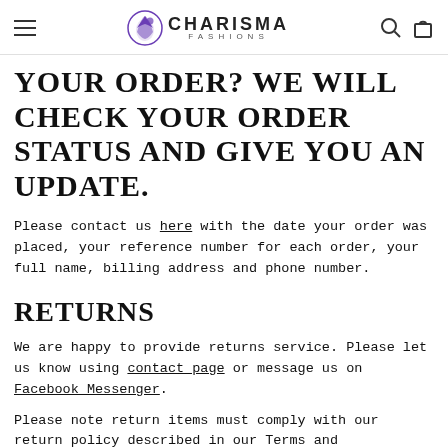CHARISMA FASHIONS
YOUR ORDER? WE WILL CHECK YOUR ORDER STATUS AND GIVE YOU AN UPDATE.
Please contact us here with the date your order was placed, your reference number for each order, your full name, billing address and phone number.
RETURNS
We are happy to provide returns service. Please let us know using contact page or message us on Facebook Messenger.
Please note return items must comply with our return policy described in our Terms and Conditions.